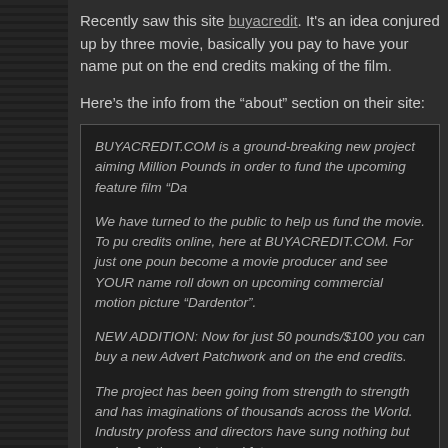Recently saw this site buyacredit. It's an idea conjured up by three movie, basically you pay to have your name put on the end credits making of the film.
Here’s the info from the “about” section on their site:
BUYACREDIT.COM is a ground-breaking new project aiming Million Pounds in order to fund the upcoming feature film “Da…
We have turned to the public to help us fund the movie. To pu credits online, here at BUYACREDIT.COM. For just one poun become a movie producer and see YOUR name roll down on upcoming commercial motion picture “Dardentor”.
NEW ADDITION: Now for just 50 pounds/$100 you can buy a new Advert Patchwork and on the end credits.
The project has been going from strength to strength and has imaginations of thousands across the World. Industry profess and directors have sung nothing but praise for the project and future.